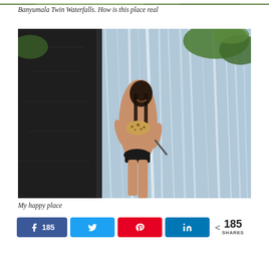[Figure (photo): Partial top edge of a nature/waterfall photo, cropped at top of page]
Banyumala Twin Waterfalls. How is this place real
[Figure (photo): Woman in a bikini standing against a large rocky waterfall, laughing, with water cascading around her. Lush green vegetation visible in background.]
My happy place
185 shares — Facebook 185, Twitter, Pinterest, LinkedIn share buttons